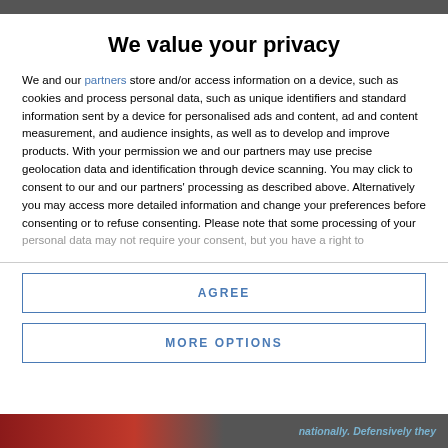We value your privacy
We and our partners store and/or access information on a device, such as cookies and process personal data, such as unique identifiers and standard information sent by a device for personalised ads and content, ad and content measurement, and audience insights, as well as to develop and improve products. With your permission we and our partners may use precise geolocation data and identification through device scanning. You may click to consent to our and our partners' processing as described above. Alternatively you may access more detailed information and change your preferences before consenting or to refuse consenting. Please note that some processing of your personal data may not require your consent, but you have a right to
AGREE
MORE OPTIONS
nationally. Defensively they